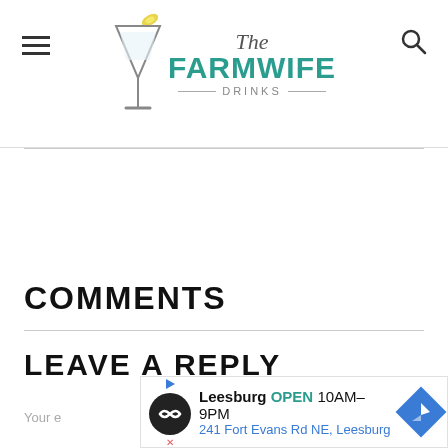The Farmwife Drinks
COMMENTS
LEAVE A REPLY
Your email address will not be published.
[Figure (infographic): Advertisement banner: Leesburg OPEN 10AM-9PM, 241 Fort Evans Rd NE, Leesburg]